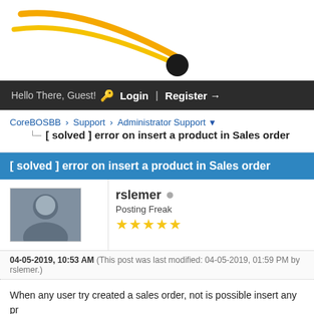[Figure (logo): CoreBOSBB logo with yellow swoosh lines and black circle]
Hello There, Guest! Login Register →
CoreBOSBB › Support › Administrator Support
[ solved ] error on insert a product in Sales order
[ solved ] error on insert a product in Sales order
rslemer
Posting Freak
★★★★★
04-05-2019, 10:53 AM (This post was last modified: 04-05-2019, 01:59 PM by rslemer.)
When any user try created a sales order, not is possible insert any pr
when user click on icon, nothing occurs